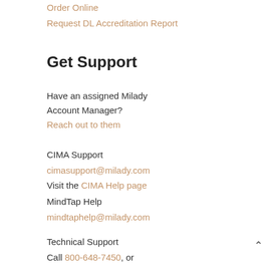Order Online
Request DL Accreditation Report
Get Support
Have an assigned Milady Account Manager?
Reach out to them
CIMA Support
cimasupport@milady.com
Visit the CIMA Help page
MindTap Help
mindtaphelp@milady.com
Technical Support
Call 800-648-7450, or
Visit cengage.com/support